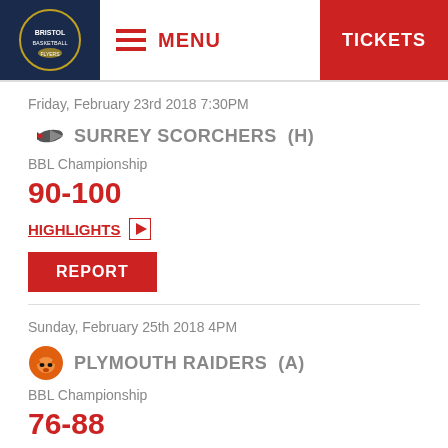Bristol Basketball — MENU | TICKETS
Friday, February 23rd 2018 7:30PM
SURREY SCORCHERS (H)
BBL Championship
90-100
HIGHLIGHTS
REPORT
Sunday, February 25th 2018 4PM
PLYMOUTH RAIDERS (A)
BBL Championship
76-88
HIGHLIGHTS
REPORT